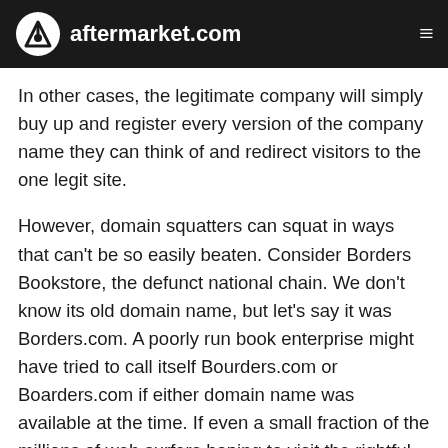aftermarket.com
In other cases, the legitimate company will simply buy up and register every version of the company name they can think of and redirect visitors to the one legit site.
However, domain squatters can squat in ways that can't be so easily beaten. Consider Borders Bookstore, the defunct national chain. We don't know its old domain name, but let's say it was Borders.com. A poorly run book enterprise might have tried to call itself Bourders.com or Boarders.com if either domain name was available at the time. If even a small fraction of the millions of web surfers hoping to visit the rightful business came to the squatter site by accident, the sketchy